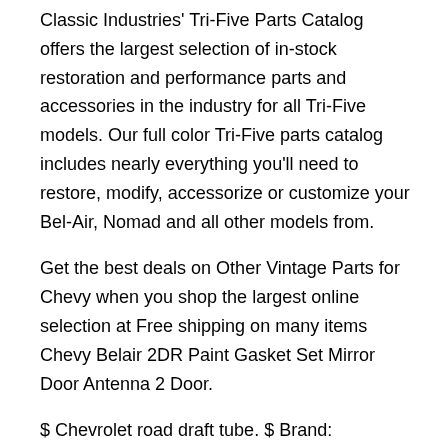Classic Industries' Tri-Five Parts Catalog offers the largest selection of in-stock restoration and performance parts and accessories in the industry for all Tri-Five models. Our full color Tri-Five parts catalog includes nearly everything you'll need to restore, modify, accessorize or customize your Bel-Air, Nomad and all other models from.
Get the best deals on Other Vintage Parts for Chevy when you shop the largest online selection at Free shipping on many items Chevy Belair 2DR Paint Gasket Set Mirror Door Antenna 2 Door.
$ Chevrolet road draft tube. $ Brand: Chevrolet. $ shipping. Warranty: No Warranty. Tri-Chevy Red Book is the essential pocket reference book on the legendary Chevrolet passenger cars of'56, and ' Each chapter is devoted to a single model year, putting all of the pertinent data at your fingertips.
Buy Chevy Tech Book Set, for $ in our huge selection of parts. Shop restoration car parts and accessories at Classic Chevy. were watershed years for Chevrolet, who spent a million dollars in alone for retooling, in order to make their less expensive Bel Air models look more like a Cadillac, culminating in with their most extravagant tailfins